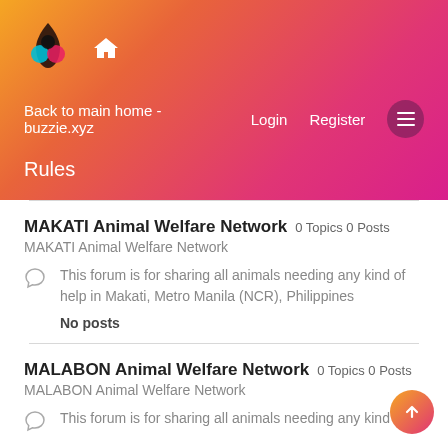[Figure (logo): Buzzie.xyz logo with colorful overlapping circles and gradient background header]
Back to main home - buzzie.xyz  Login  Register
Rules
MAKATI Animal Welfare Network 0 Topics 0 Posts
MAKATI Animal Welfare Network
This forum is for sharing all animals needing any kind of help in Makati, Metro Manila (NCR), Philippines
No posts
MALABON Animal Welfare Network 0 Topics 0 Posts
MALABON Animal Welfare Network
This forum is for sharing all animals needing any kind of